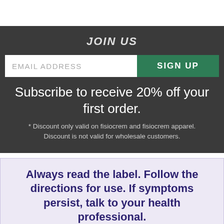JOIN US
EMAIL ADDRESS
SIGN UP
Subscribe to receive 20% off your first order.
* Discount only valid on fisiocrem and fisiocrem apparel. Discount is not valid for wholesale customers.
Always read the label. Follow the directions for use. If symptoms persist, talk to your health professional.